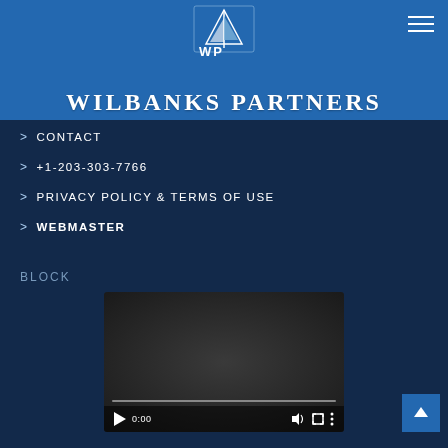[Figure (logo): Wilbanks Partners logo with WP initials and sailboat icon on blue background]
WILBANKS PARTNERS
> CONTACT
> +1-203-303-7766
> PRIVACY POLICY & TERMS OF USE
> WEBMASTER
BLOCK
[Figure (screenshot): Embedded video player showing 0:00 timestamp with play, volume, fullscreen, and more options controls]